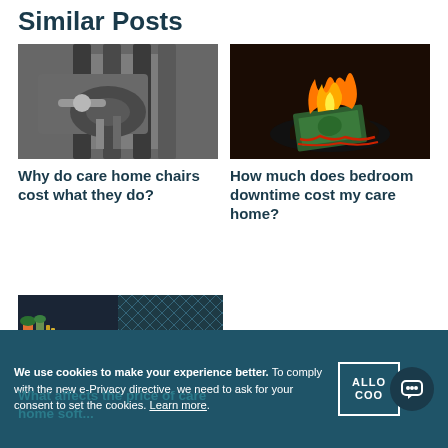Similar Posts
[Figure (photo): Black and white photo of hands working with cables or equipment straps]
Why do care home chairs cost what they do?
[Figure (photo): Color photo of burning money / banknotes on fire]
How much does bedroom downtime cost my care home?
[Figure (photo): Photo of a stylish bedroom interior with sofa, pillows and patterned wallpaper]
What affects the price of care home soft...
We use cookies to make your experience better. To comply with the new e-Privacy directive, we need to ask for your consent to set the cookies. Learn more.